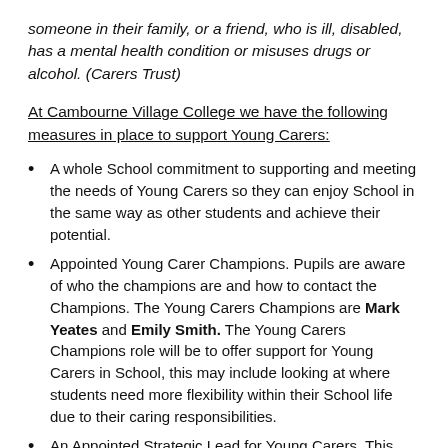someone in their family, or a friend, who is ill, disabled, has a mental health condition or misuses drugs or alcohol. (Carers Trust)
At Cambourne Village College we have the following measures in place to support Young Carers:
A whole School commitment to supporting and meeting the needs of Young Carers so they can enjoy School in the same way as other students and achieve their potential.
Appointed Young Carer Champions. Pupils are aware of who the champions are and how to contact the Champions. The Young Carers Champions are Mark Yeates and Emily Smith. The Young Carers Champions role will be to offer support for Young Carers in School, this may include looking at where students need more flexibility within their School life due to their caring responsibilities.
An Appointed Strategic Lead for Young Carers. This explores a whole School approach for Young Carers.